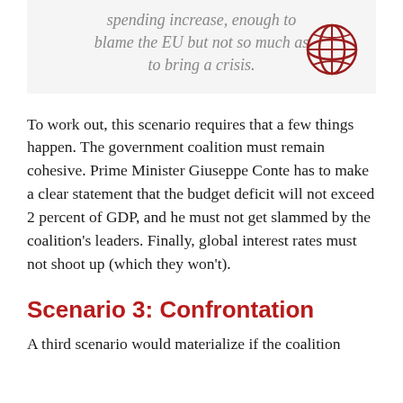spending increase, enough to blame the EU but not so much as to bring a crisis.
[Figure (logo): Globe/network logo in dark red, bottom-right of quote box]
To work out, this scenario requires that a few things happen. The government coalition must remain cohesive. Prime Minister Giuseppe Conte has to make a clear statement that the budget deficit will not exceed 2 percent of GDP, and he must not get slammed by the coalition's leaders. Finally, global interest rates must not shoot up (which they won't).
Scenario 3: Confrontation
A third scenario would materialize if the coalition